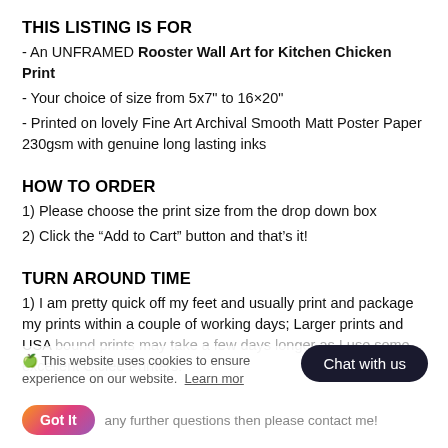THIS LISTING IS FOR
- An UNFRAMED Rooster Wall Art for Kitchen Chicken Print
- Your choice of size from 5x7" to 16x20"
- Printed on lovely Fine Art Archival Smooth Matt Poster Paper 230gsm with genuine long lasting inks
HOW TO ORDER
1) Please choose the print size from the drop down box
2) Click the “Add to Cart” button and that’s it!
TURN AROUND TIME
1) I am pretty quick off my feet and usually print and package my prints within a couple of working days; Larger prints and USA bound prints may take a few days longer as I use some excellent Giclée Printers.
This website uses cookies to ensure you get the best experience on our website. Learn more
Chat with us
Got It   any further questions then please contact me!